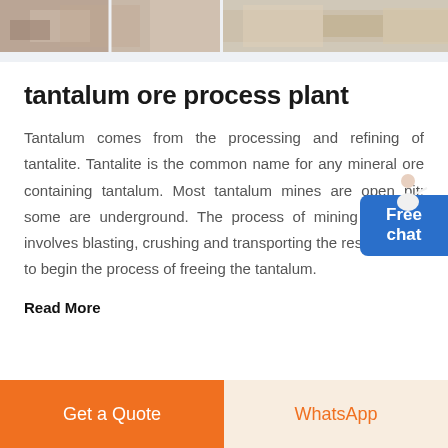[Figure (photo): Two industrial/mining photos shown as a horizontal strip at the top of the page]
tantalum ore process plant
Tantalum comes from the processing and refining of tantalite. Tantalite is the common name for any mineral ore containing tantalum. Most tantalum mines are open pit; some are underground. The process of mining tantalum involves blasting, crushing and transporting the resulting ore to begin the process of freeing the tantalum.
Read More
Get a Quote | WhatsApp